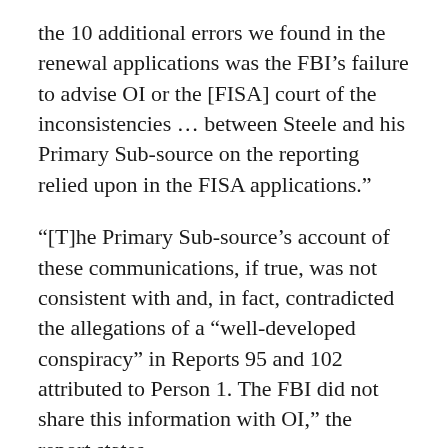the 10 additional errors we found in the renewal applications was the FBI’s failure to advise OI or the [FISA] court of the inconsistencies … between Steele and his Primary Sub-source on the reporting relied upon in the FISA applications.”
“[T]he Primary Sub-source’s account of these communications, if true, was not consistent with and, in fact, contradicted the allegations of a “well-developed conspiracy” in Reports 95 and 102 attributed to Person 1. The FBI did not share this information with OI,” the report states.
The IG Report also noted, “The fact that the Primary Sub-source’s account contradicted key assertions attributed to his/her own sub-sources in Steele’s